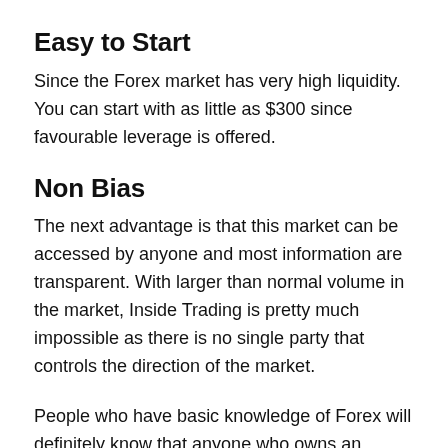Easy to Start
Since the Forex market has very high liquidity. You can start with as little as $300 since favourable leverage is offered.
Non Bias
The next advantage is that this market can be accessed by anyone and most information are transparent. With larger than normal volume in the market, Inside Trading is pretty much impossible as there is no single party that controls the direction of the market.
People who have basic knowledge of Forex will definitely know that anyone who owns an internet connection can trade Forex. Thus this is one trading